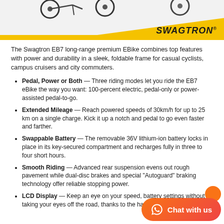[Figure (photo): Header image showing Swagtron EB7 electric bikes with yellow diagonal background and Swagtron logo]
The Swagtron EB7 long-range premium EBike combines top features with power and durability in a sleek, foldable frame for casual cyclists, campus cruisers and city commuters.
Pedal, Power or Both — Three riding modes let you ride the EB7 eBike the way you want: 100-percent electric, pedal-only or power-assisted pedal-to-go.
Extended Mileage — Reach powered speeds of 30km/h for up to 25 km on a single charge. Kick it up a notch and pedal to go even faster and farther.
Swappable Battery — The removable 36V lithium-ion battery locks in place in its key-secured compartment and recharges fully in three to four short hours.
Smooth Riding — Advanced rear suspension evens out rough pavement while dual-disc brakes and special "Autoguard" braking technology offer reliable stopping power.
LCD Display — Keep an eye on your speed, battery settings without taking your eyes off the road, thanks to the handlebar display.
[Figure (other): Chat with us widget button (WhatsApp-style orange/red gradient)]